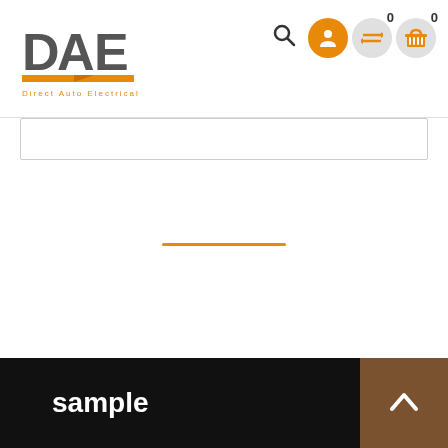[Figure (logo): DAE Direct Auto Electrical logo with orange bar/triangle accent and orange tagline]
[Figure (screenshot): Website navigation header with search icon and circular icon buttons for user account, compare, and cart with counters showing 0]
[Figure (other): Orange horizontal divider line in center of white content area]
sample
[Figure (other): Brown back-to-top button with upward arrow chevron in bottom right]